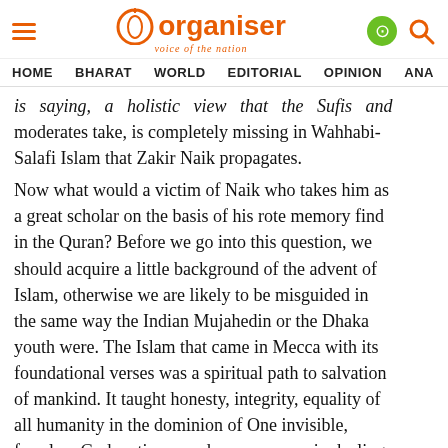Organiser — voice of the nation
HOME  BHARAT  WORLD  EDITORIAL  OPINION  ANA
is saying, a holistic view that the Sufis and moderates take, is completely missing in Wahhabi-Salafi Islam that Zakir Naik propagates. Now what would a victim of Naik who takes him as a great scholar on the basis of his rote memory find in the Quran? Before we go into this question, we should acquire a little background of the advent of Islam, otherwise we are likely to be misguided in the same way the Indian Mujahedin or the Dhaka youth were. The Islam that came in Mecca with its foundational verses was a spiritual path to salvation of mankind. It taught honesty, integrity, equality of all humanity in the dominion of One invisible, formless God, patience and perseverance in dealing